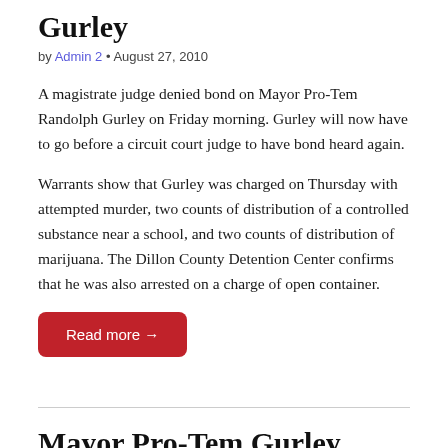Gurley
by Admin 2 • August 27, 2010
A magistrate judge denied bond on Mayor Pro-Tem Randolph Gurley on Friday morning. Gurley will now have to go before a circuit court judge to have bond heard again.
Warrants show that Gurley was charged on Thursday with attempted murder, two counts of distribution of a controlled substance near a school, and two counts of distribution of marijuana. The Dillon County Detention Center confirms that he was also arrested on a charge of open container.
Read more →
Mayor Pro-Tem Gurley Charged With Attempted Murder, Other